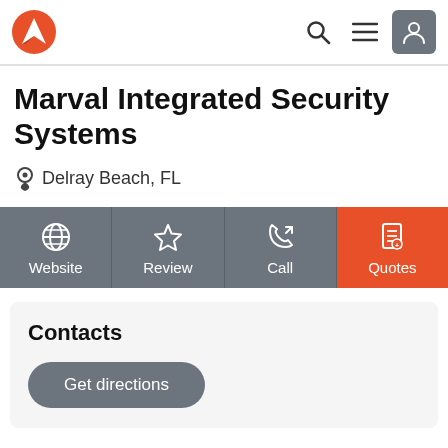Marval Integrated Security Systems — website header navigation
Marval Integrated Security Systems
Delray Beach, FL
[Figure (infographic): Four action buttons: Website (globe icon), Review (star icon), Call (phone icon), Quotes (document icon, orange background)]
Contacts
Get directions